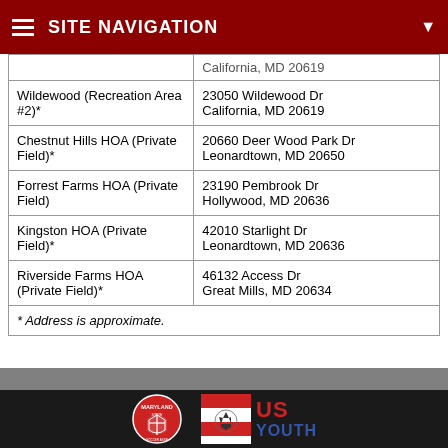SITE NAVIGATION
| Location | Address |
| --- | --- |
|  | California, MD 20619 |
| Wildewood (Recreation Area #2)* | 23050 Wildewood Dr
California, MD 20619 |
| Chestnut Hills HOA (Private Field)* | 20660 Deer Wood Park Dr
Leonardtown, MD 20650 |
| Forrest Farms HOA (Private Field) | 23190 Pembrook Dr
Hollywood, MD 20636 |
| Kingston HOA (Private Field)* | 42010 Starlight Dr
Leonardtown, MD 20636 |
| Riverside Farms HOA (Private Field)* | 46132 Access Dr
Great Mills, MD 20634 |
* Address is approximate.
[Figure (logo): Maryland state soccer association logo and US Youth Soccer logo in dark footer bar]